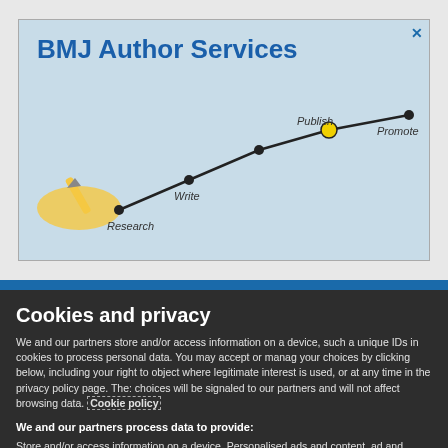[Figure (illustration): BMJ Author Services advertisement banner showing a hand holding a pencil with a line graph connecting nodes labeled Research, Write, Publish, Promote on a light blue background.]
Cookies and privacy
We and our partners store and/or access information on a device, such as unique IDs in cookies to process personal data. You may accept or manage your choices by clicking below, including your right to object where legitimate interest is used, or at any time in the privacy policy page. These choices will be signaled to our partners and will not affect browsing data. Cookie policy
We and our partners process data to provide:
Store and/or access information on a device, Personalised ads and content, ad and content measurement, audience insights and product development, Use precise geolocation data, Actively scan device characteristics for identification
List of Partners (vendors)